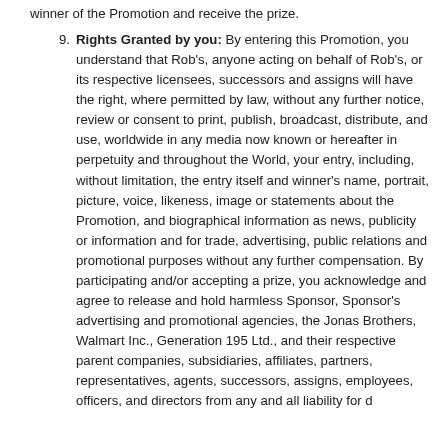winner of the Promotion and receive the prize.
9. Rights Granted by you: By entering this Promotion, you understand that Rob's, anyone acting on behalf of Rob's, or its respective licensees, successors and assigns will have the right, where permitted by law, without any further notice, review or consent to print, publish, broadcast, distribute, and use, worldwide in any media now known or hereafter in perpetuity and throughout the World, your entry, including, without limitation, the entry itself and winner's name, portrait, picture, voice, likeness, image or statements about the Promotion, and biographical information as news, publicity or information and for trade, advertising, public relations and promotional purposes without any further compensation. By participating and/or accepting a prize, you acknowledge and agree to release and hold harmless Sponsor, Sponsor's advertising and promotional agencies, the Jonas Brothers, Walmart Inc., Generation 195 Ltd., and their respective parent companies, subsidiaries, affiliates, partners, representatives, agents, successors, assigns, employees, officers, and directors from any and all liability for damages...